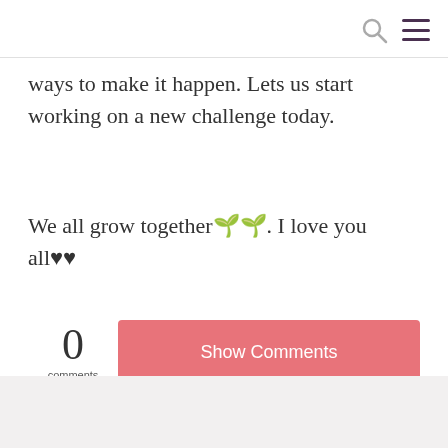ways to make it happen. Lets us start working on a new challenge today.
We all grow together🌱🌱. I love you all♥♥
0 comments  Show Comments